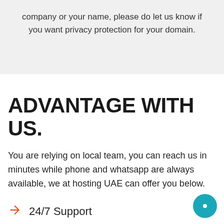company or your name, please do let us know if you want privacy protection for your domain.
ADVANTAGE WITH US.
You are relying on local team, you can reach us in minutes while phone and whatsapp are always available, we at hosting UAE can offer you below.
24/7 Support